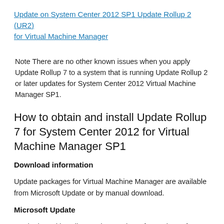Update on System Center 2012 SP1 Update Rollup 2 (UR2) for Virtual Machine Manager
Note There are no other known issues when you apply Update Rollup 7 to a system that is running Update Rollup 2 or later updates for System Center 2012 Virtual Machine Manager SP1.
How to obtain and install Update Rollup 7 for System Center 2012 for Virtual Machine Manager SP1
Download information
Update packages for Virtual Machine Manager are available from Microsoft Update or by manual download.
Microsoft Update
To obtain and install an update package from Microsoft Update, follow these steps on a computer that has an applicable System Center 2012 R2 component installed: